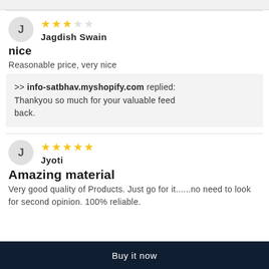Jagdish Swain — 3 star review
nice
Reasonable price, very nice
>> info-satbhav.myshopify.com replied: Thankyou so much for your valuable feed back.
Jyoti — 5 star review
Amazing material
Very good quality of Products. Just go for it......no need to look for second opinion. 100% reliable.
Buy it now